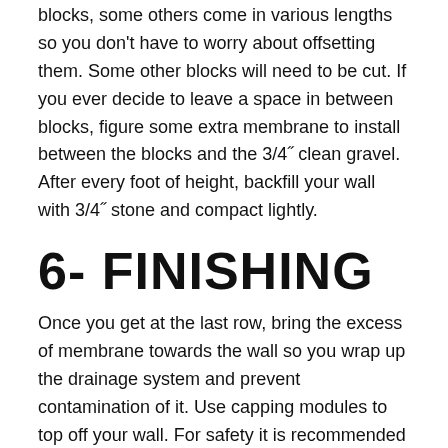blocks, some others come in various lengths so you don't have to worry about offsetting them. Some other blocks will need to be cut. If you ever decide to leave a space in between blocks, figure some extra membrane to install between the blocks and the 3/4" clean gravel. After every foot of height, backfill your wall with 3/4" stone and compact lightly.
6- FINISHING
Once you get at the last row, bring the excess of membrane towards the wall so you wrap up the drainage system and prevent contamination of it. Use capping modules to top off your wall. For safety it is recommended to glue these modules to the last row of regular wall blocks using a concrete adhesive. Finally cover up the membrane with decorative stones, soil, grass, much, etc., up to the capping module